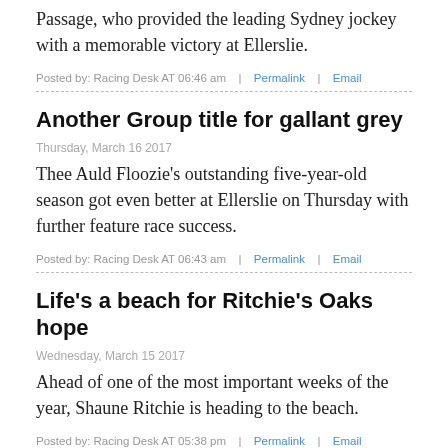Passage, who provided the leading Sydney jockey with a memorable victory at Ellerslie.
Posted by: Racing Desk AT 06:46 am  |  Permalink  |  Email
Another Group title for gallant grey
Thursday, March 16 2017
Thee Auld Floozie's outstanding five-year-old season got even better at Ellerslie on Thursday with further feature race success.
Posted by: Racing Desk AT 06:43 am  |  Permalink  |  Email
Life's a beach for Ritchie's Oaks hope
Wednesday, March 15 2017
Ahead of one of the most important weeks of the year, Shaune Ritchie is heading to the beach.
Posted by: Racing Desk AT 05:38 pm  |  Permalink  |  Email